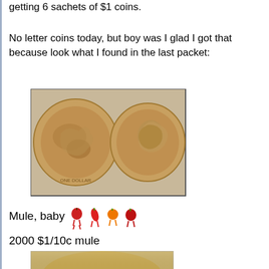getting 6 sachets of $1 coins.
No letter coins today, but boy was I glad I got that because look what I found in the last packet:
[Figure (photo): Photo of two Australian $1 coins showing obverse and reverse sides, golden/bronze coloured]
Mule, baby  [emoji characters]
2000 $1/10c mule
[Figure (photo): Close-up photo of a coin, partially visible at bottom of page]